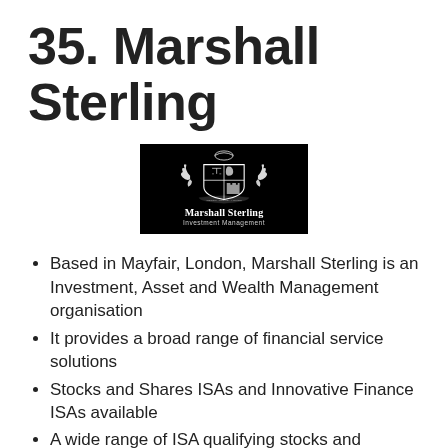35. Marshall Sterling
[Figure (logo): Marshall Sterling Investment Management logo — black square with a heraldic coat of arms (griffins, lions, shield with scales, decorative crest) in white, with 'Marshall Sterling' and 'Investment Management' text below in white on black background.]
Based in Mayfair, London, Marshall Sterling is an Investment, Asset and Wealth Management organisation
It provides a broad range of financial service solutions
Stocks and Shares ISAs and Innovative Finance ISAs available
A wide range of ISA qualifying stocks and